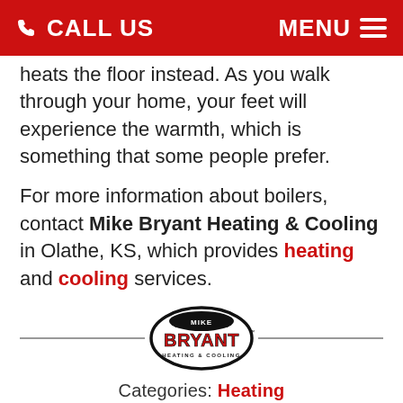CALL US   MENU
heats the floor instead. As you walk through your home, your feet will experience the warmth, which is something that some people prefer.
For more information about boilers, contact Mike Bryant Heating & Cooling in Olathe, KS, which provides heating and cooling services.
[Figure (logo): Mike Bryant Heating & Cooling oval logo with red and black text]
Categories: Heating